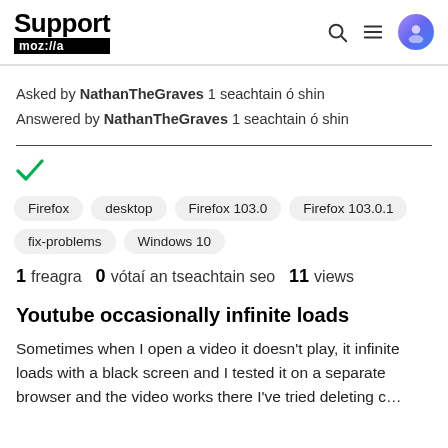Support mozilla
Asked by NathanTheGraves 1 seachtain ó shin
Answered by NathanTheGraves 1 seachtain ó shin
[Figure (other): Green checkmark icon indicating resolved/answered]
Firefox
desktop
Firefox 103.0
Firefox 103.0.1
fix-problems
Windows 10
1 freagra  0 vótaí an tseachtain seo  11 views
Youtube occasionally infinite loads
Sometimes when I open a video it doesn't play, it infinite loads with a black screen and I tested it on a separate browser and the video works there I've tried deleting c…